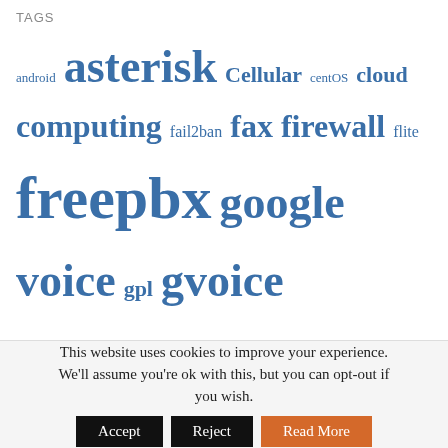TAGS
[Figure (infographic): Tag cloud with various technology terms in different sizes, all in blue: android, asterisk, Cellular, centOS, cloud, computing, fail2ban, fax, firewall, flite, freepbx, google voice, gpl, gvoice, IncrediblePBX, inum, iptables, issabel, ivr, linux, Networking, orgasmatron, pbx, piaf, raspberrypi, security, sip, sip phone, Skyetel, skype, SMS, softphone, Streaming Devices, stt, Telephony, trunking, tts, virtualization, VitalPBX, vitelity, vm, voip, vpn, Wazo]
This website uses cookies to improve your experience. We'll assume you're ok with this, but you can opt-out if you wish.
Accept | Reject | Read More